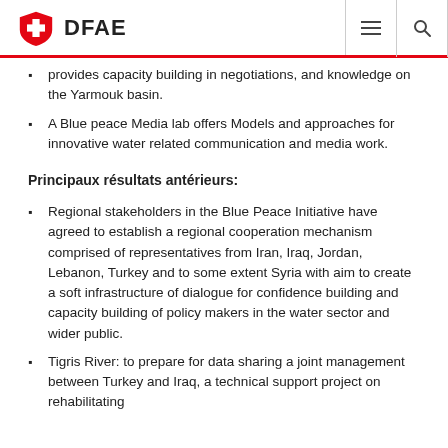DFAE
provides capacity building in negotiations, and knowledge on the Yarmouk basin.
A Blue peace Media lab offers Models and approaches for innovative water related communication and media work.
Principaux résultats antérieurs:
Regional stakeholders in the Blue Peace Initiative have agreed to establish a regional cooperation mechanism comprised of representatives from Iran, Iraq, Jordan, Lebanon, Turkey and to some extent Syria with aim to create a soft infrastructure of dialogue for confidence building and capacity building of policy makers in the water sector and wider public.
Tigris River: to prepare for data sharing a joint management between Turkey and Iraq, a technical support project on rehabilitating